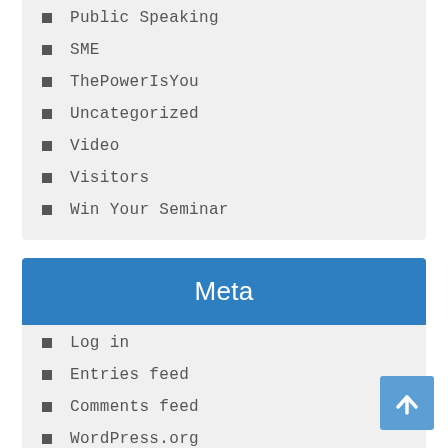Public Speaking
SME
ThePowerIsYou
Uncategorized
Video
Visitors
Win Your Seminar
Meta
Log in
Entries feed
Comments feed
WordPress.org
Archives